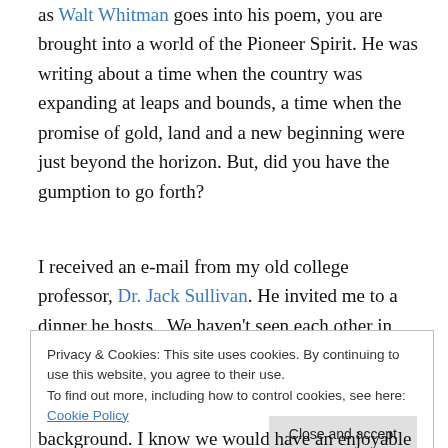as Walt Whitman goes into his poem, you are brought into a world of the Pioneer Spirit. He was writing about a time when the country was expanding at leaps and bounds, a time when the promise of gold, land and a new beginning were just beyond the horizon. But, did you have the gumption to go forth?
I received an e-mail from my old college professor, Dr. Jack Sullivan. He invited me to a dinner he hosts. We haven't seen each other in quite some time and he wanted to make sure I would attend the American Studies major
Privacy & Cookies: This site uses cookies. By continuing to use this website, you agree to their use.
To find out more, including how to control cookies, see here: Cookie Policy
background. I know we would have an enjoyable time